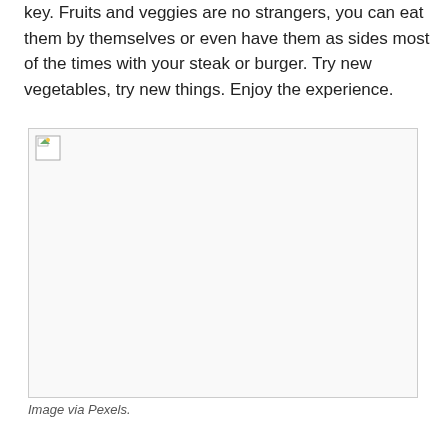key. Fruits and veggies are no strangers, you can eat them by themselves or even have them as sides most of the times with your steak or burger. Try new vegetables, try new things. Enjoy the experience.
[Figure (photo): A broken/missing image placeholder with a small image icon in the top-left corner. The image failed to load and shows an empty white rectangle with a border.]
Image via Pexels.